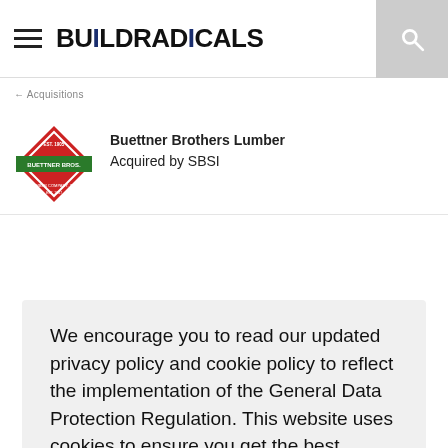BUILDRADICALS
Buettner Brothers Lumber
Acquired by SBSI
We encourage you to read our updated privacy policy and cookie policy to reflect the implementation of the General Data Protection Regulation. This website uses cookies to ensure you get the best experience on our website
Privacy and Policy
Got it!